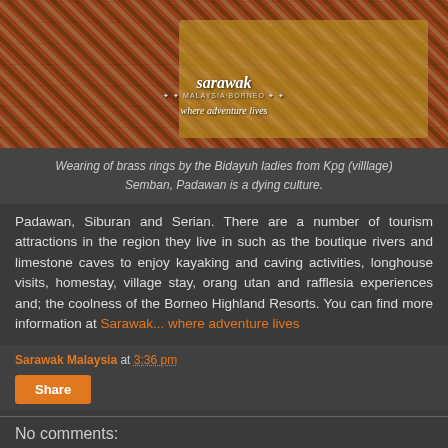[Figure (photo): Photo of Bidayuh ladies wearing brass rings, with Sarawak 'Malaysia Borneo, where adventure lives' logo overlay]
Wearing of brass rings by the Bidayuh ladies from Kpg (villlage) Semban, Padawan is a dying culture.
Padawan, Siburan and Serian. There are a number of tourism attractions in the region they live in such as the boutique rivers and limestone caves to enjoy kayaking and caving activities, longhouse visits, homestay, village stay, orang utan and rafflesia experiences and; the coolness of the Borneo Highland Resorts. You can find more information at Sarawak... where adventure lives
Sarawak Malaysia at 3:36 pm
Share
No comments: